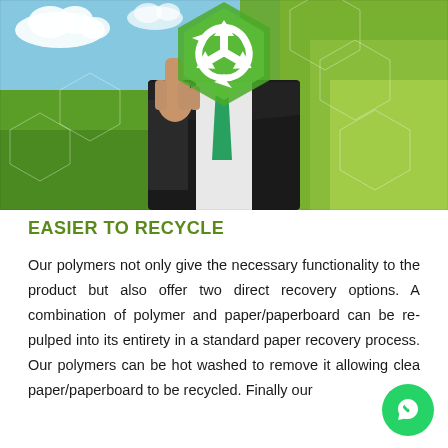[Figure (photo): A person in a dark business suit with a green tie pointing at a glowing green hexagon containing a recycling symbol (three white arrows forming a triangle). The background shows a sunny outdoor scene with green fields and blue sky with clouds. Hexagonal grid patterns overlay the image.]
EASIER TO RECYCLE
Our polymers not only give the necessary functionality to the product but also offer two direct recovery options. A combination of polymer and paper/paperboard can be re-pulped into its entirety in a standard paper recovery process. Our polymers can be hot washed to remove it allowing clea paper/paperboard to be recycled. Finally our